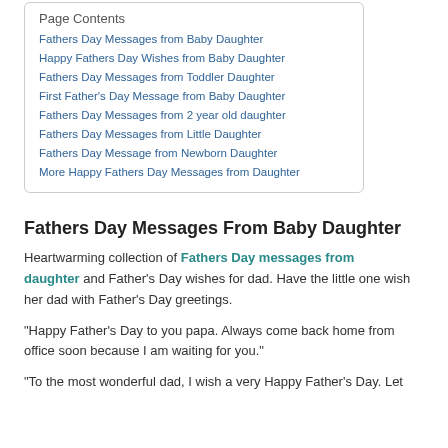Fathers Day Messages from Baby Daughter
Happy Fathers Day Wishes from Baby Daughter
Fathers Day Messages from Toddler Daughter
First Father's Day Message from Baby Daughter
Fathers Day Messages from 2 year old daughter
Fathers Day Messages from Little Daughter
Fathers Day Message from Newborn Daughter
More Happy Fathers Day Messages from Daughter
Fathers Day Messages From Baby Daughter
Heartwarming collection of Fathers Day messages from daughter and Father's Day wishes for dad. Have the little one wish her dad with Father's Day greetings.
“Happy Father’s Day to you papa. Always come back home from office soon because I am waiting for you.”
“To the most wonderful dad, I wish a very Happy Father’s Day. Let